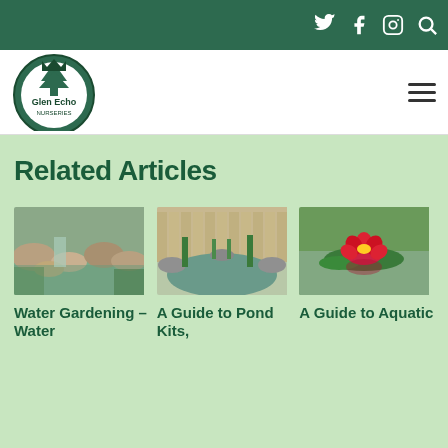Glen Echo Nurseries — navigation header with social icons (Twitter, Facebook, Instagram, Search) and hamburger menu
Related Articles
[Figure (photo): Rocky waterfall and pond garden feature with stones and water]
[Figure (photo): Garden pond with aquatic plants, rocks, and water features]
[Figure (photo): Red water lily flower floating on still water with reflection]
Water Gardening – Water
A Guide to Pond Kits,
A Guide to Aquatic